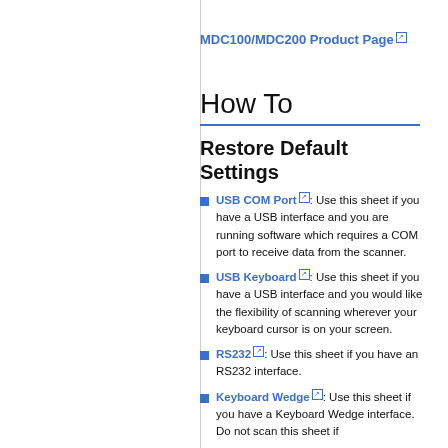MDC100/MDC200 Product Page [external link]
How To
Restore Default Settings
USB COM Port [external link]: Use this sheet if you have a USB interface and you are running software which requires a COM port to receive data from the scanner.
USB Keyboard [external link]: Use this sheet if you have a USB interface and you would like the flexibility of scanning wherever your keyboard cursor is on your screen.
RS232 [external link]: Use this sheet if you have an RS232 interface.
Keyboard Wedge [external link]: Use this sheet if you have a Keyboard Wedge interface. Do not scan this sheet if